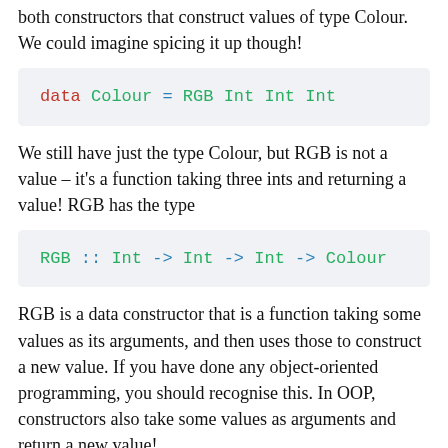both constructors that construct values of type Colour. We could imagine spicing it up though!
[Figure (screenshot): Code block showing: data Colour = RGB Int Int Int]
We still have just the type Colour, but RGB is not a value – it's a function taking three ints and returning a value! RGB has the type
[Figure (screenshot): Code block showing: RGB :: Int -> Int -> Int -> Colour]
RGB is a data constructor that is a function taking some values as its arguments, and then uses those to construct a new value. If you have done any object-oriented programming, you should recognise this. In OOP, constructors also take some values as arguments and return a new value!